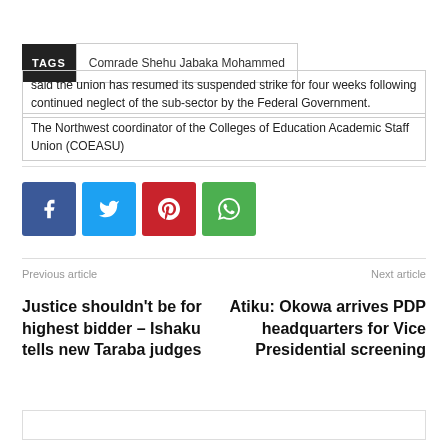TAGS   Comrade Shehu Jabaka Mohammed
said the union has resumed its suspended strike for four weeks following continued neglect of the sub-sector by the Federal Government.
The Northwest coordinator of the Colleges of Education Academic Staff Union (COEASU)
[Figure (infographic): Social media share buttons: Facebook (blue), Twitter (light blue), Pinterest (red), WhatsApp (green)]
Previous article
Justice shouldn't be for highest bidder – Ishaku tells new Taraba judges
Next article
Atiku: Okowa arrives PDP headquarters for Vice Presidential screening